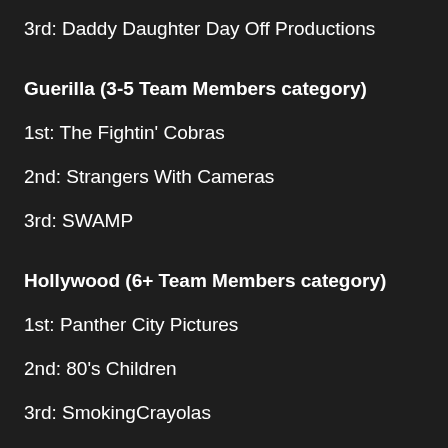3rd: Daddy Daughter Day Off Productions
Guerilla (3-5 Team Members category)
1st: The Fightin' Cobras
2nd: Strangers With Cameras
3rd: SWAMP
Hollywood (6+ Team Members category)
1st: Panther City Pictures
2nd: 80's Children
3rd: SmokingCrayolas